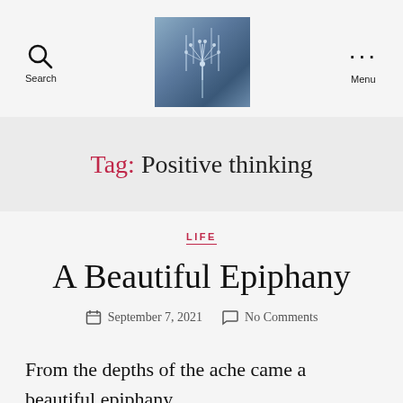Search | [logo image] | Menu
Tag: Positive thinking
LIFE
A Beautiful Epiphany
September 7, 2021   No Comments
From the depths of the ache came a beautiful epiphany.